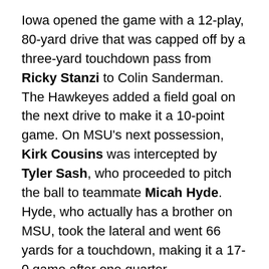Iowa opened the game with a 12-play, 80-yard drive that was capped off by a three-yard touchdown pass from Ricky Stanzi to Colin Sanderman. The Hawkeyes added a field goal on the next drive to make it a 10-point game. On MSU's next possession, Kirk Cousins was intercepted by Tyler Sash, who proceeded to pitch the ball to teammate Micah Hyde. Hyde, who actually has a brother on MSU, took the lateral and went 66 yards for a touchdown, making it a 17-0 game after one quarter.
In the second quarter, Michigan State continued to struggle, with Iowa absolutely sticking it to the Spartans. Adam Robinson had a 32-yard touchdown reception following another Cousins interception, and Robinson added a two-yard touchdown with a minute